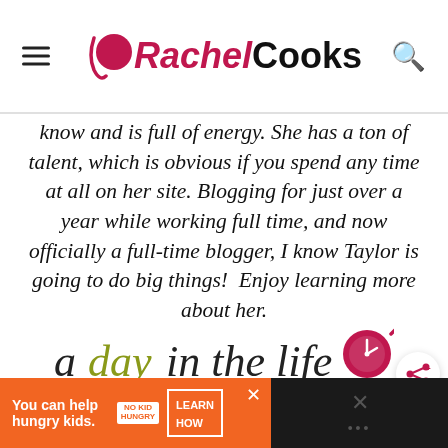Rachel Cooks
know and is full of energy. She has a ton of talent, which is obvious if you spend any time at all on her site. Blogging for just over a year while working full time, and now officially a full-time blogger, I know Taylor is going to do big things!  Enjoy learning more about her.
[Figure (logo): A day in the life logo with skillet/clock icon]
[Figure (infographic): Share button icon]
[Figure (infographic): Advertisement bar: You can help hungry kids. No Kid Hungry. Learn How.]